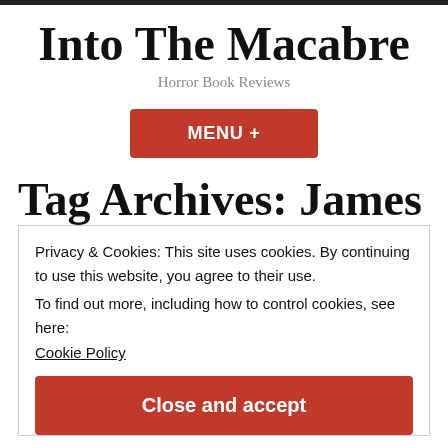Into The Macabre
Horror Book Reviews
MENU +
Tag Archives: James
Privacy & Cookies: This site uses cookies. By continuing to use this website, you agree to their use.
To find out more, including how to control cookies, see here: Cookie Policy
Close and accept